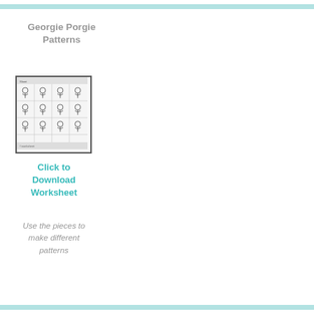Georgie Porgie Patterns
[Figure (illustration): A worksheet thumbnail showing rows of Georgie Porgie character figures arranged in a grid pattern, black and white line art.]
Click to Download Worksheet
Use the pieces to make different patterns